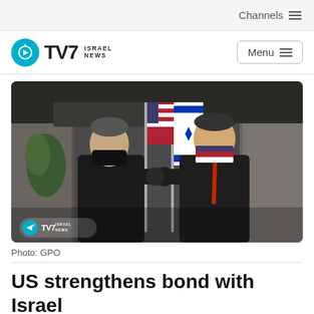Channels
[Figure (logo): TV7 Israel News logo with teal circle icon]
[Figure (photo): Two men in dark suits wearing face masks doing an elbow bump greeting, with Israeli and American flags in the background. TV7 Israel News watermark visible in bottom left corner.]
Photo: GPO
US strengthens bond with Israel